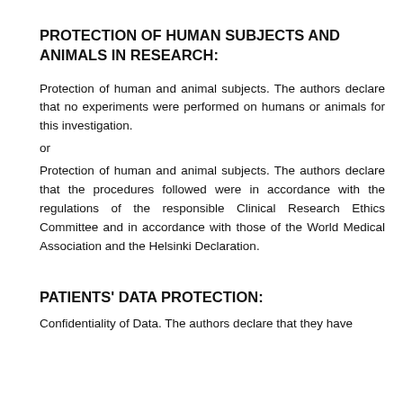PROTECTION OF HUMAN SUBJECTS AND ANIMALS IN RESEARCH:
Protection of human and animal subjects. The authors declare that no experiments were performed on humans or animals for this investigation.
or
Protection of human and animal subjects. The authors declare that the procedures followed were in accordance with the regulations of the responsible Clinical Research Ethics Committee and in accordance with those of the World Medical Association and the Helsinki Declaration.
PATIENTS' DATA PROTECTION:
Confidentiality of Data. The authors declare that they have